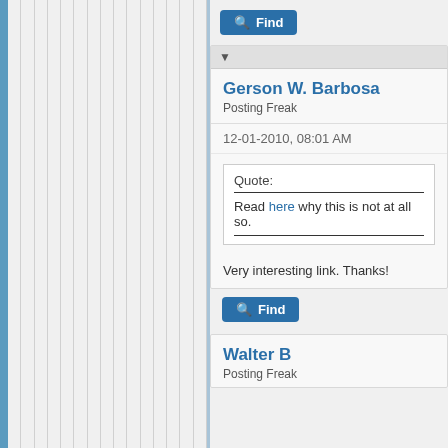[Figure (screenshot): Left panel with vertical blue bar and gray stripes]
Find (button)
▼
Gerson W. Barbosa
Posting Freak
12-01-2010, 08:01 AM
Quote:
Read here why this is not at all so.
Very interesting link. Thanks!
Find (button)
Walter B
Posting Freak